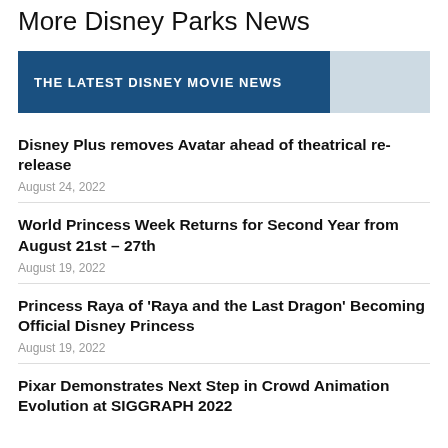More Disney Parks News
THE LATEST DISNEY MOVIE NEWS
Disney Plus removes Avatar ahead of theatrical re-release
August 24, 2022
World Princess Week Returns for Second Year from August 21st – 27th
August 19, 2022
Princess Raya of 'Raya and the Last Dragon' Becoming Official Disney Princess
August 19, 2022
Pixar Demonstrates Next Step in Crowd Animation Evolution at SIGGRAPH 2022